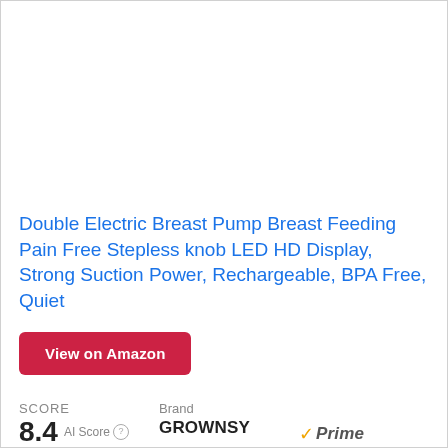[Figure (photo): Product image area (white/blank placeholder for breast pump product photo)]
Double Electric Breast Pump Breast Feeding Pain Free Stepless knob LED HD Display, Strong Suction Power, Rechargeable, BPA Free, Quiet
View on Amazon
SCORE
8.4 AI Score
Brand
GROWNSY
Prime